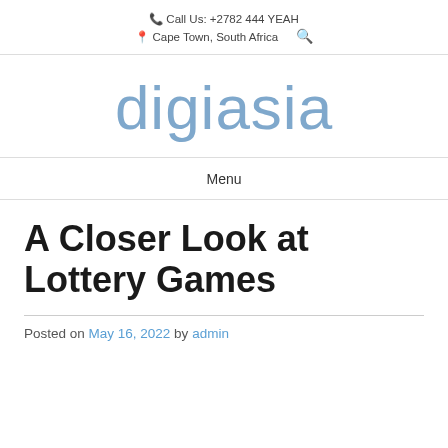Call Us: +2782 444 YEAH
Cape Town, South Africa
digiasia
Menu
A Closer Look at Lottery Games
Posted on May 16, 2022 by admin